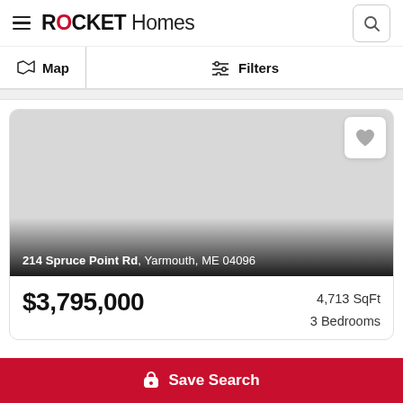ROCKET Homes
Map | Filters
[Figure (screenshot): Property photo placeholder for 214 Spruce Point Rd, Yarmouth, ME 04096 with heart/favorite button]
$3,795,000  4,713 SqFt  3 Bedrooms
Save Search